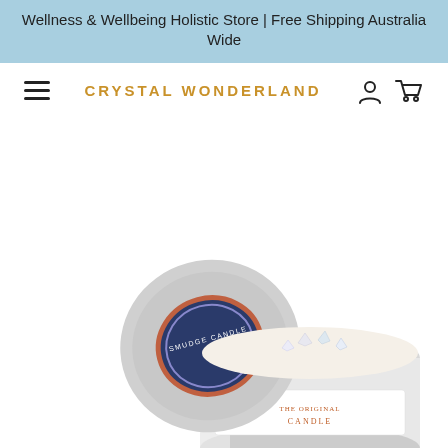Wellness & Wellbeing Holistic Store | Free Shipping Australia Wide
CRYSTAL WONDERLAND
[Figure (photo): A tin candle container with the lid leaning against it. The tin has a label reading 'SMUDGE CANDLE' on the lid and 'THE ORIGINAL [CANDLE]' on the side. The candle inside is white/cream colored with crystal pieces on top.]